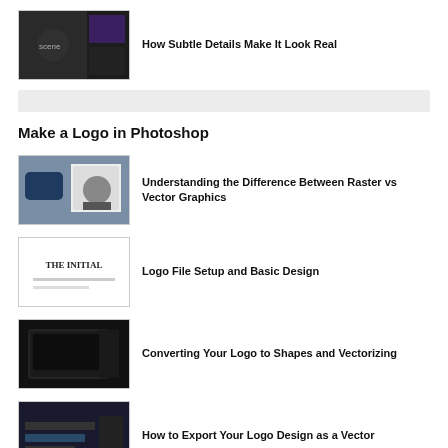[Figure (screenshot): Thumbnail of a dark gaming/Photoshop scene]
How Subtle Details Make It Look Real
Make a Logo in Photoshop
[Figure (screenshot): Thumbnail showing raster vs vector graphics with blue rectangle and motorcycle]
Understanding the Difference Between Raster vs Vector Graphics
[Figure (screenshot): Thumbnail showing logo file setup with text 'THE INITIAL']
Logo File Setup and Basic Design
[Figure (screenshot): Thumbnail showing dark Photoshop canvas for converting logo to shapes]
Converting Your Logo to Shapes and Vectorizing
[Figure (screenshot): Thumbnail showing dark export settings panel]
How to Export Your Logo Design as a Vector
How to Create Packaging Mockups
[Figure (screenshot): Thumbnail showing packaging mockup introduction]
Packaging Mockup Introduction
Check out Envato Elements and get awesome templates and design resources by clicking here.